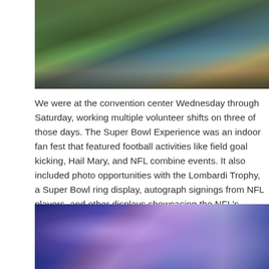[Figure (photo): Outdoor photo of a convention center area with palm trees, green tents, and structures visible in daylight]
We were at the convention center Wednesday through Saturday, working multiple volunteer shifts on three of those days. The Super Bowl Experience was an indoor fan fest that featured football activities like field goal kicking, Hail Mary, and NFL combine events. It also included photo opportunities with the Lombardi Trophy, a Super Bowl ring display, autograph signings from NFL players, and other displays showcasing the NFL's history that spans one hundred years.
[Figure (photo): Close-up photo of shiny silver/chrome trophies or awards against a vivid blue background with lightning-like light patterns]